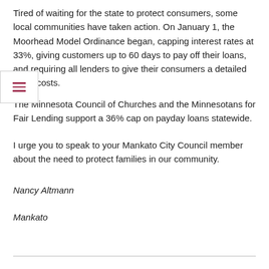Tired of waiting for the state to protect consumers, some local communities have taken action. On January 1, the Moorhead Model Ordinance began, capping interest rates at 33%, giving customers up to 60 days to pay off their loans, and requiring all lenders to give their consumers a detailed list of costs.
The Minnesota Council of Churches and the Minnesotans for Fair Lending support a 36% cap on payday loans statewide.
I urge you to speak to your Mankato City Council member about the need to protect families in our community.
Nancy Altmann
Mankato